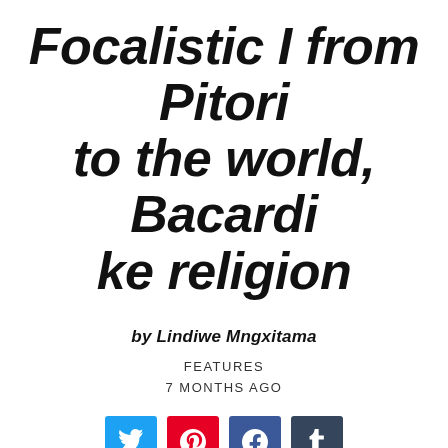Focalistic I from Pitori to the world, Bacardi ke religion
by Lindiwe Mngxitama
FEATURES
7 MONTHS AGO
[Figure (infographic): Social media share buttons: Twitter (blue), Pinterest (red), Facebook (dark blue), Tumblr (dark navy)]
It's an overcast, yet, warm Wednesday afternoon in Joburg and I'm on a call with President ya straata and Pitori Maradona